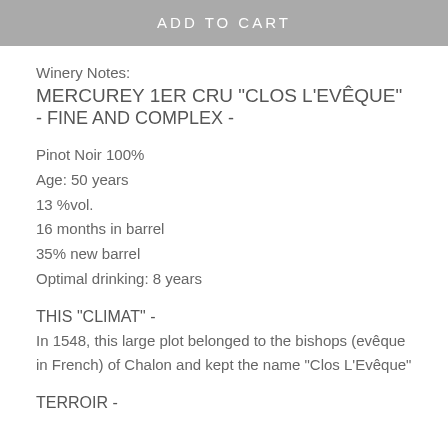ADD TO CART
Winery Notes:
MERCUREY 1ER CRU "CLOS L'EVÊQUE"
- FINE AND COMPLEX -
Pinot Noir 100%
Age: 50 years
13 %vol.
16 months in barrel
35% new barrel
Optimal drinking: 8 years
THIS "CLIMAT" -
In 1548, this large plot belonged to the bishops (evêque in French) of Chalon and kept the name "Clos L'Evêque"
TERROIR -